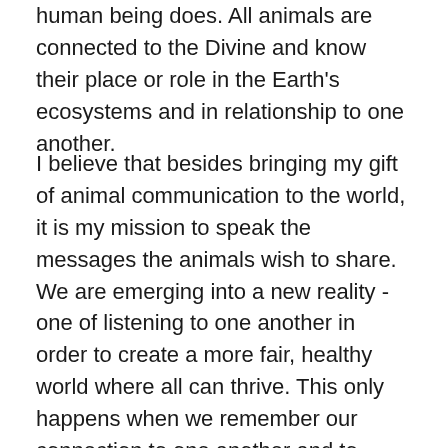human being does. All animals are connected to the Divine and know their place or role in the Earth's ecosystems and in relationship to one another.
I believe that besides bringing my gift of animal communication to the world, it is my mission to speak the messages the animals wish to share. We are emerging into a new reality - one of listening to one another in order to create a more fair, healthy world where all can thrive. This only happens when we remember our connection to one another and to something bigger - the Earth and all LIFE we are a part of. To remember our connection, we have only to listen to the animals, the trees and plants, our family members who remember.